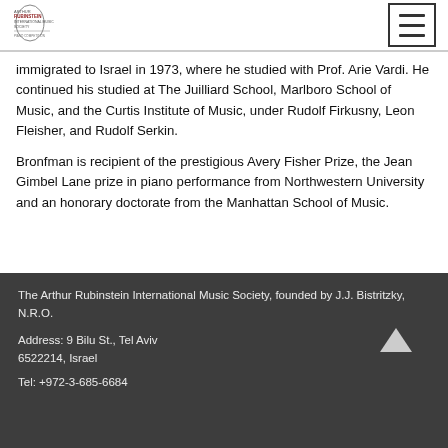Arthur Rubinstein International Music Society logo and navigation menu
immigrated to Israel in 1973, where he studied with Prof. Arie Vardi. He continued his studied at The Juilliard School, Marlboro School of Music, and the Curtis Institute of Music, under Rudolf Firkusny, Leon Fleisher, and Rudolf Serkin.
Bronfman is recipient of the prestigious Avery Fisher Prize, the Jean Gimbel Lane prize in piano performance from Northwestern University and an honorary doctorate from the Manhattan School of Music.
The Arthur Rubinstein International Music Society, founded by J.J. Bistritzky, N.R.O.
Address: 9 Bilu St., Tel Aviv 6522214, Israel
Tel: +972-3-685-6684